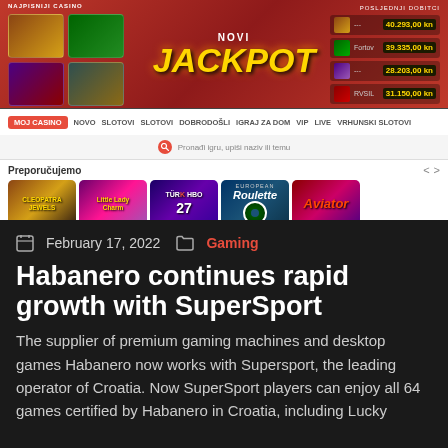[Figure (screenshot): Screenshot of SuperSport casino website showing a NOVI JACKPOT banner with game thumbnails on left and jackpot amounts on right (40.293,00kn, 39.335,00kn, 28.203,00kn, 31.150,00kn), navigation bar with MOJ CASINO, NOVO, SLOTOVI, SLOTOVI, DOBRODOŠLI, IGRAJ ZA DOM, VIP, LIVE, VRHUNSKI SLOTOVI tabs, search bar, Preporučujemo section with game cards including Cleopatra Jewels, Little Lady Charm, Türk HBO 27, European Roulette, and Aviator.]
February 17, 2022
Gaming
Habanero continues rapid growth with SuperSport
The supplier of premium gaming machines and desktop games Habanero now works with Supersport, the leading operator of Croatia. Now SuperSport players can enjoy all 64 games certified by Habanero in Croatia, including Lucky